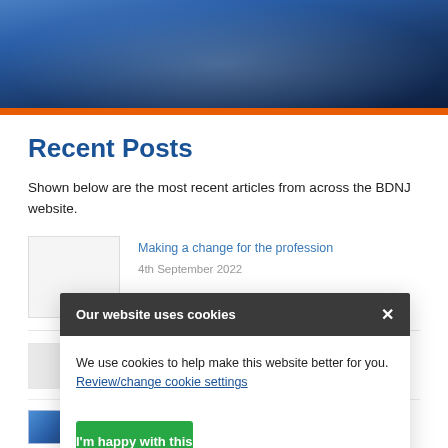[Figure (photo): Person in denim jacket working on a laptop, cropped banner image at top of page]
Recent Posts
Shown below are the most recent articles from across the BDNJ website.
Making a change for the profession
4th September 2022
Your infection control – customised
[Figure (screenshot): Cookie consent banner overlay reading 'Our website uses cookies' with close button, body text 'We use cookies to help make this website better for you. Review/change cookie settings', and green button 'I'm happy with this']
...dence
...hips – a route to